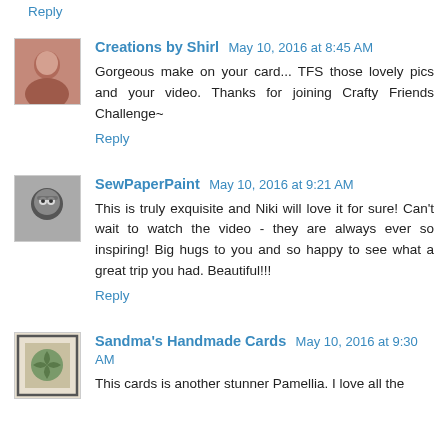Reply
Creations by Shirl  May 10, 2016 at 8:45 AM
Gorgeous make on your card... TFS those lovely pics and your video. Thanks for joining Crafty Friends Challenge~
Reply
SewPaperPaint  May 10, 2016 at 9:21 AM
This is truly exquisite and Niki will love it for sure! Can't wait to watch the video - they are always ever so inspiring! Big hugs to you and so happy to see what a great trip you had. Beautiful!!!
Reply
Sandma's Handmade Cards  May 10, 2016 at 9:30 AM
This cards is another stunner Pamellia. I love all the